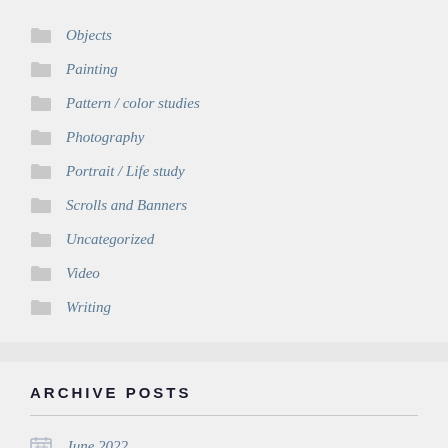Objects
Painting
Pattern / color studies
Photography
Portrait / Life study
Scrolls and Banners
Uncategorized
Video
Writing
ARCHIVE POSTS
June 2022